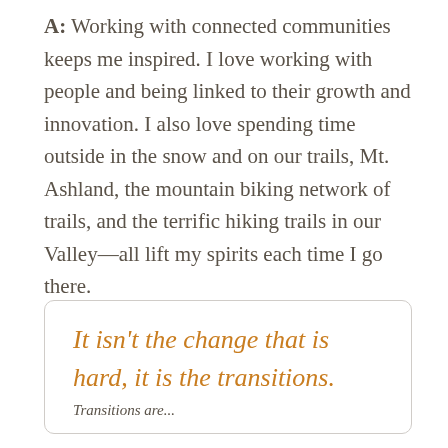A: Working with connected communities keeps me inspired. I love working with people and being linked to their growth and innovation. I also love spending time outside in the snow and on our trails, Mt. Ashland, the mountain biking network of trails, and the terrific hiking trails in our Valley—all lift my spirits each time I go there.
It isn't the change that is hard, it is the transitions. Transitions are...